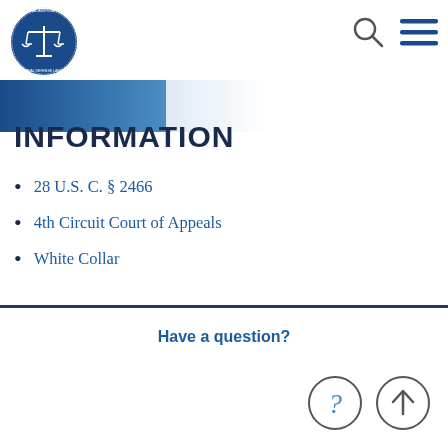[Figure (logo): National Association of Criminal Defense Lawyers circular badge logo with scales of justice]
INFORMATION
28 U.S. C. § 2466
4th Circuit Court of Appeals
White Collar
Have a question?